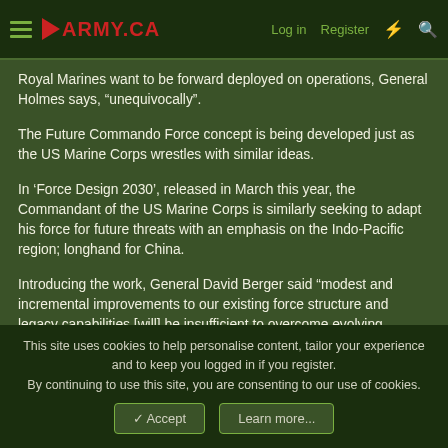ARMY.CA — Log in | Register
Royal Marines want to be forward deployed on operations, General Holmes says, “unequivocally”.
The Future Commando Force concept is being developed just as the US Marine Corps wrestles with similar ideas.
In ‘Force Design 2030’, released in March this year, the Commandant of the US Marine Corps is similarly seeking to adapt his force for future threats with an emphasis on the Indo-Pacific region; longhand for China.
Introducing the work, General David Berger said “modest and incremental improvements to our existing force structure and legacy capabilities [will] be insufficient to overcome evolving
This site uses cookies to help personalise content, tailor your experience and to keep you logged in if you register.
By continuing to use this site, you are consenting to our use of cookies.